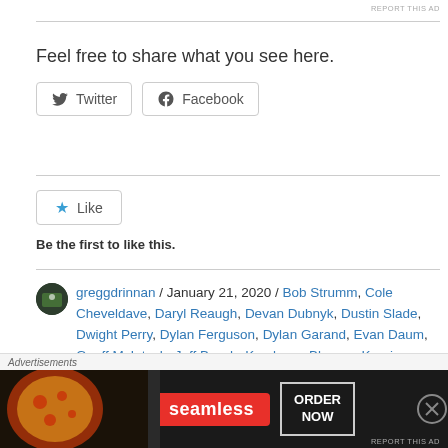REPORT THIS AD
Feel free to share what you see here.
[Figure (other): Twitter and Facebook share buttons]
[Figure (other): Like button with star icon]
Be the first to like this.
greggdrinnan / January 21, 2020 / Bob Strumm, Cole Cheveldave, Daryl Reaugh, Devan Dubnyk, Dustin Slade, Dwight Perry, Dylan Ferguson, Dylan Garand, Evan Daum, Geoff McIntosh, Jeff Bosch, Kamloops Blazers, Kenric Exner, Kurtis Mucha, Lee Child, Matt Savoie, Neate
[Figure (infographic): Seamless food delivery advertisement banner with ORDER NOW button]
REPORT THIS AD